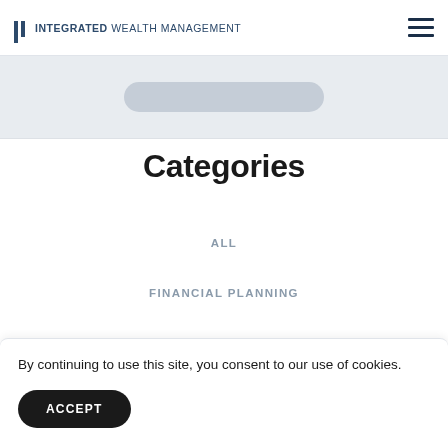INTEGRATED WEALTH MANAGEMENT
Categories
ALL
FINANCIAL PLANNING
INSURANCE
By continuing to use this site, you consent to our use of cookies.